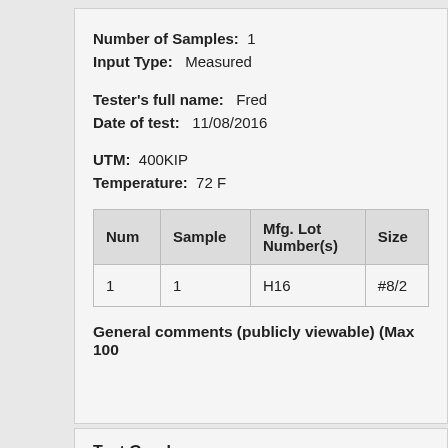Number of Samples: 1
Input Type: Measured
Tester's full name: Fred
Date of test: 11/08/2016
UTM: 400KIP
Temperature: 72 F
| Num | Sample | Mfg. Lot Number(s) | Size |
| --- | --- | --- | --- |
| 1 | 1 | H16 | #8/2 |
General comments (publicly viewable) (Max 100
Test Graph
Source: Partner Data Point File